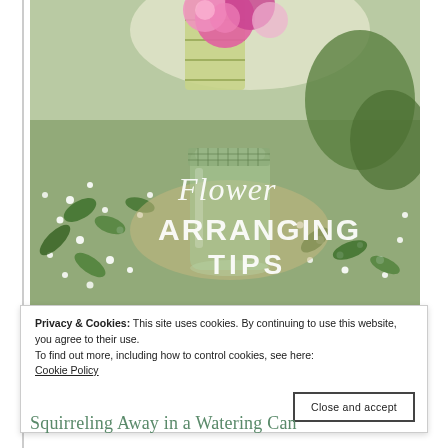[Figure (photo): A flower arranging photo showing pink peonies in a bamboo-wrapped vase, a glass jar with green chicken wire mesh frog, and white small flowers and green foliage arranged around. Text overlay reads 'Flower ARRANGING TIPS' in white script and bold serif fonts.]
Privacy & Cookies: This site uses cookies. By continuing to use this website, you agree to their use.
To find out more, including how to control cookies, see here:
Cookie Policy
Close and accept
Squirreling Away in a Watering Can